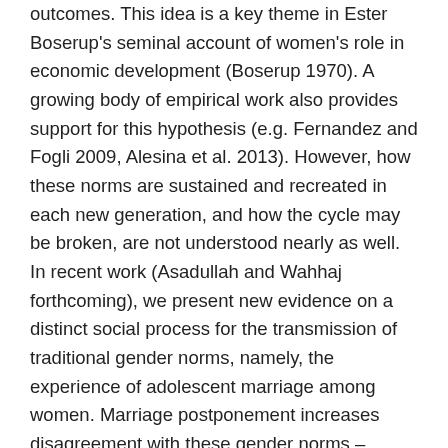outcomes. This idea is a key theme in Ester Boserup's seminal account of women's role in economic development (Boserup 1970). A growing body of empirical work also provides support for this hypothesis (e.g. Fernandez and Fogli 2009, Alesina et al. 2013). However, how these norms are sustained and recreated in each new generation, and how the cycle may be broken, are not understood nearly as well. In recent work (Asadullah and Wahhaj forthcoming), we present new evidence on a distinct social process for the transmission of traditional gender norms, namely, the experience of adolescent marriage among women. Marriage postponement increases disagreement with these gender norms – expressed, for example, in statements of the form "Boys require more nutrition than girls to be strong and healthy" – even among women who never went to school.'